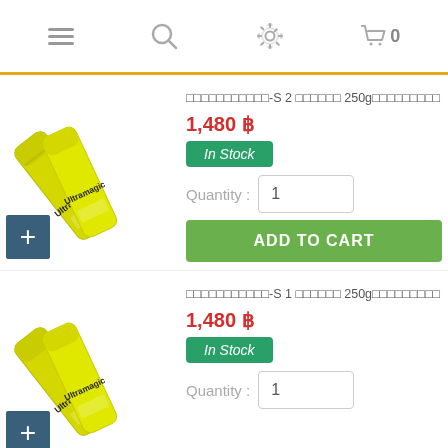Navigation bar with menu, search, settings, and cart (0 items)
[Figure (photo): Two yellow Ultramagic cream tubes arranged diagonally, with a dark teal plus button in bottom-left corner]
□□□□□□□□□□□-S 2 □□□□□□ 250g□□□□□□□□□
1,480 ฿
In Stock
Quantity : 1
ADD TO CART
[Figure (photo): Two yellow Ultramagic cream tubes arranged diagonally, with a dark teal plus button in bottom-left corner]
□□□□□□□□□□□-S 1 □□□□□□ 250g□□□□□□□□□
1,480 ฿
In Stock
Quantity : 1